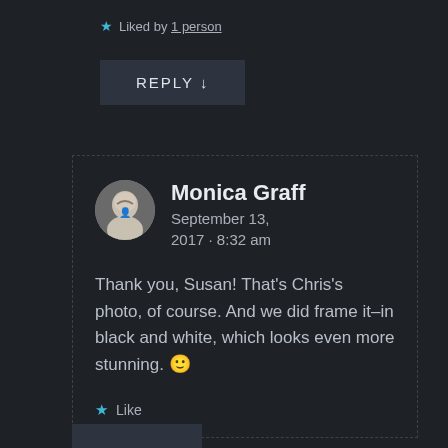★ Liked by 1 person
REPLY ↓
Monica Graff
September 13, 2017 · 8:32 am

Thank you, Susan! That's Chris's photo, of course. And we did frame it–in black and white, which looks even more stunning. 🙂

★ Like